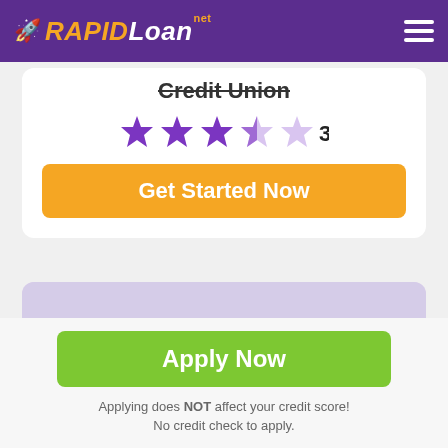[Figure (logo): RapidLoan.net logo with rocket icon on purple header bar, with hamburger menu icon on right]
Credit Union
[Figure (infographic): Star rating display showing 3.5 out of 5 stars (3 filled purple, 1 half purple, 1 empty) with numeric rating 3.5]
Get Started Now
[Figure (photo): Purple-tinted photo of hands holding cash/currency bills]
Apply Now
Applying does NOT affect your credit score! No credit check to apply.